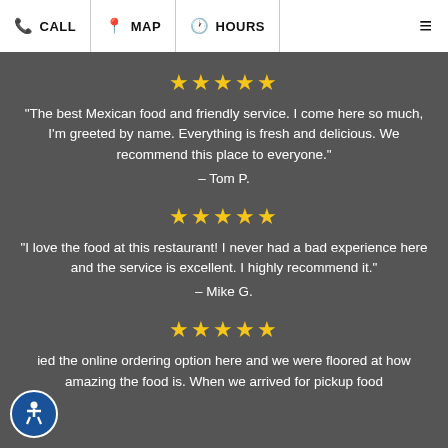CALL | MAP | HOURS
★★★★★
"The best Mexican food and friendly service. I come here so much, I'm greeted by name. Everything is fresh and delicious. We recommend this place to everyone."
– Tom P.
★★★★★
"I love the food at this restaurant! I never had a bad experience here and the service is excellent. I highly recommend it."
– Mike G.
★★★★★
ied the online ordering option here and we were floored at how amazing the food is. When we arrived for pickup food